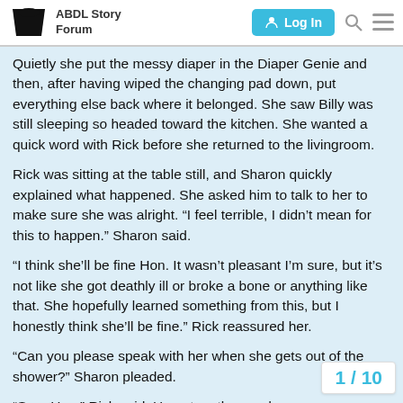ABDL Story Forum | Log In
Quietly she put the messy diaper in the Diaper Genie and then, after having wiped the changing pad down, put everything else back where it belonged. She saw Billy was still sleeping so headed toward the kitchen. She wanted a quick word with Rick before she returned to the livingroom.
Rick was sitting at the table still, and Sharon quickly explained what happened. She asked him to talk to her to make sure she was alright. “I feel terrible, I didn’t mean for this to happen.” Sharon said.
“I think she’ll be fine Hon. It wasn’t pleasant I’m sure, but it’s not like she got deathly ill or broke a bone or anything like that. She hopefully learned something from this, but I honestly think she’ll be fine.” Rick reassured her.
“Can you please speak with her when she gets out of the shower?” Sharon pleaded.
“Sure Hon,” Rick said. He got up then and